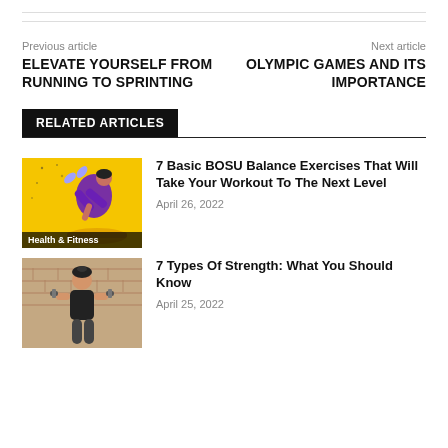Previous article
ELEVATE YOURSELF FROM RUNNING TO SPRINTING
Next article
OLYMPIC GAMES AND ITS IMPORTANCE
RELATED ARTICLES
[Figure (photo): Woman doing BOSU balance exercise in purple workout clothes against a yellow wall. Category label: Health & Fitness]
7 Basic BOSU Balance Exercises That Will Take Your Workout To The Next Level
April 26, 2022
[Figure (photo): Woman holding dumbbells in black workout clothes, brick wall background.]
7 Types Of Strength: What You Should Know
April 25, 2022